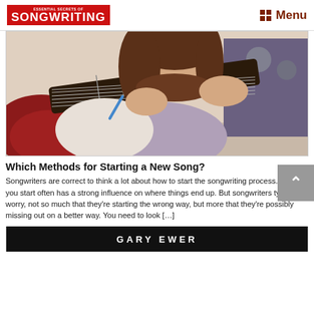ESSENTIAL SECRETS OF SONGWRITING | Menu
[Figure (photo): Young woman with brown hair looking down at guitar fretboard while holding a pen, writing or composing music]
Which Methods for Starting a New Song?
Songwriters are correct to think a lot about how to start the songwriting process. How you start often has a strong influence on where things end up. But songwriters typically worry, not so much that they're starting the wrong way, but more that they're possibly missing out on a better way. You need to look [...]
[Figure (photo): Bottom strip showing 'GARY EWER' text on dark background — partial book/media cover]